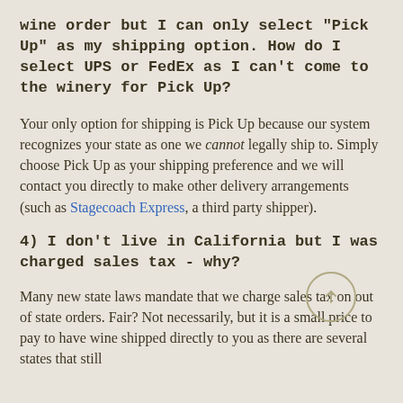wine order but I can only select "Pick Up" as my shipping option.  How do I select UPS or FedEx as I can't come to the winery for Pick Up?
Your only option for shipping is Pick Up because our system recognizes your state as one we cannot legally ship to.  Simply choose Pick Up as your shipping preference and we will contact you directly to make other delivery arrangements (such as Stagecoach Express, a third party shipper).
4)  I don't live in California but I was charged sales tax - why?
Many new state laws mandate that we charge sales tax on out of state orders.  Fair?  Not necessarily, but it is a small price to pay to have wine shipped directly to you as there are several states that still